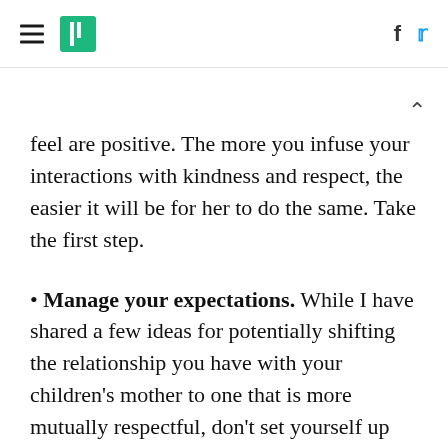HuffPost navigation and social icons
feel are positive. The more you infuse your interactions with kindness and respect, the easier it will be for her to do the same. Take the first step.
Manage your expectations. While I have shared a few ideas for potentially shifting the relationship you have with your children's mother to one that is more mutually respectful, don't set yourself up for disappointment by expecting change to happen overnight. These suggestions may help you two gradually shift your relationship to one that is more honest and open, but if you have a pattern of hiding, deceiving, judging and criticizing each other, it will